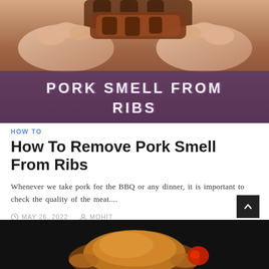[Figure (photo): Hero image showing hands holding pork ribs over a dark background, with a semi-transparent purple overlay banner containing the text 'PORK SMELL FROM RIBS']
PORK SMELL FROM RIBS
HOW TO
How To Remove Pork Smell From Ribs
Whenever we take pork for the BBQ or any dinner, it is important to check the quality of the meat....
MAY 26, 2022   MOHIT
[Figure (photo): Photo of a roasted whole chicken on a dark background with vegetables]